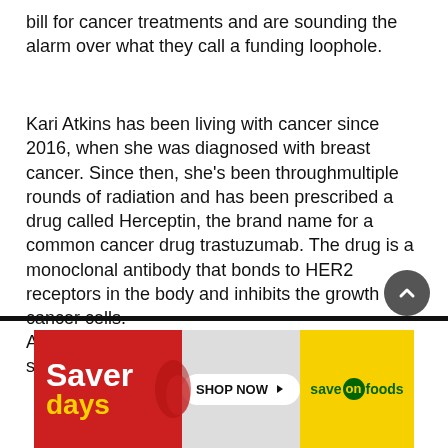bill for cancer treatments and are sounding the alarm over what they call a funding loophole.
Kari Atkins has been living with cancer since 2016, when she was diagnosed with breast cancer. Since then, she's been throughmultiple rounds of radiation and has been prescribed a drug called Herceptin, the brand name for a common cancer drug trastuzumab. The drug is a monoclonal antibody that bonds to HER2 receptors in the body and inhibits the growth of cancer cells.
At the time, her treatment was fully funded and she recovered.
[Figure (other): Advertisement banner for Save On Foods 'Saver days' promotion with a red left panel showing 'Saver days' text, a white 'SHOP NOW' button in the middle on grey background, and a yellow right panel with 'save on foods' green logo text.]